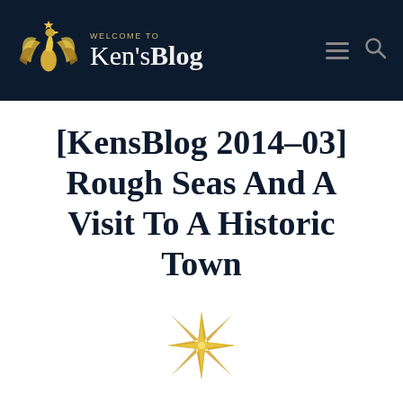[Figure (logo): Ken's Blog website header with golden swan/heron logo, 'WELCOME TO' text above 'Ken'sBlog' in white serif font on dark navy background, with hamburger menu and search icons on the right]
[KensBlog 2014-03] Rough Seas And A Visit To A Historic Town
[Figure (illustration): Golden eight-pointed star / compass rose decorative divider element]